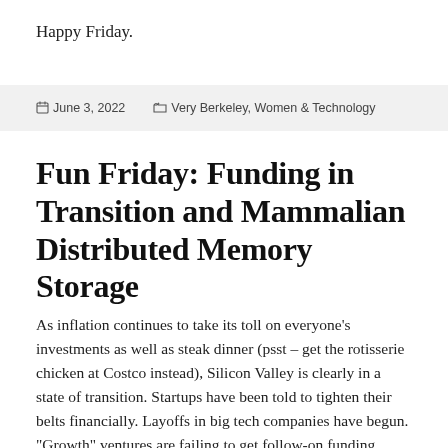Happy Friday.
June 3, 2022   Very Berkeley, Women & Technology
Fun Friday: Funding in Transition and Mammalian Distributed Memory Storage
As inflation continues to take its toll on everyone’s investments as well as steak dinner (psst – get the rotisserie chicken at Costco instead), Silicon Valley is clearly in a state of transition. Startups have been told to tighten their belts financially. Layoffs in big tech companies have begun. “Growth” ventures are failing to get follow-on funding, primarily in the